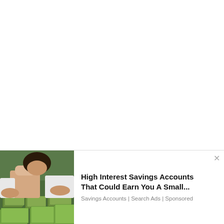[Figure (photo): Advertisement banner at the bottom of the page showing a person handling large stacks of US dollar bills on a table. Beside the image is ad text reading 'High Interest Savings Accounts That Could Earn You A Small...' with subtext 'Savings Accounts | Search Ads | Sponsored'. A close (×) button appears at top right of the ad.]